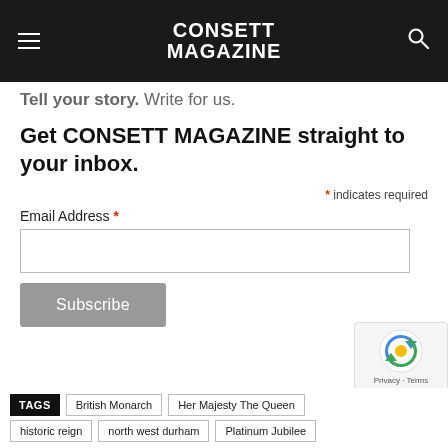CONSETT MAGAZINE
Tell your story. Write for us.
Get CONSETT MAGAZINE straight to your inbox.
* indicates required
Email Address *
Subscribe
TAGS British Monarch Her Majesty The Queen historic reign north west durham Platinum Jubilee